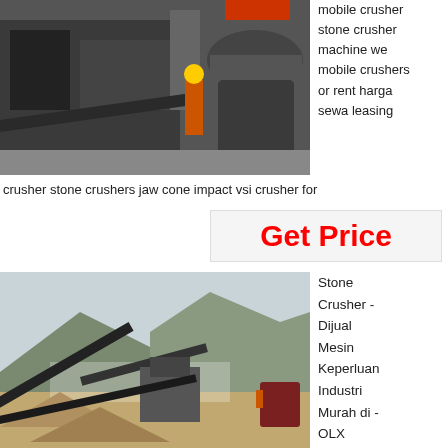[Figure (photo): Industrial stone crusher machinery with a worker in orange vest and yellow hard hat standing nearby, inside a factory or plant.]
mobile crusher stone crusher machine we mobile crushers or rent harga sewa leasing
crusher stone crushers jaw cone impact vsi crusher for
Get Price
[Figure (photo): Outdoor stone crushing plant with conveyors, crushers, and dust, set against a hilly landscape.]
Stone Crusher - Dijual Mesin Keperluan Industri Murah di - OLX